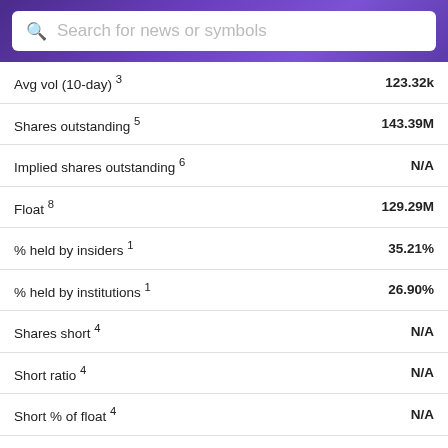Search for news or symbols
| Metric | Value |
| --- | --- |
| Avg vol (10-day) 3 | 123.32k |
| Shares outstanding 5 | 143.39M |
| Implied shares outstanding 6 | N/A |
| Float 8 | 129.29M |
| % held by insiders 1 | 35.21% |
| % held by institutions 1 | 26.90% |
| Shares short 4 | N/A |
| Short ratio 4 | N/A |
| Short % of float 4 | N/A |
| Short % of shares outstanding 4 | N/A |
| Shares short (prior month) 4 | N/A |